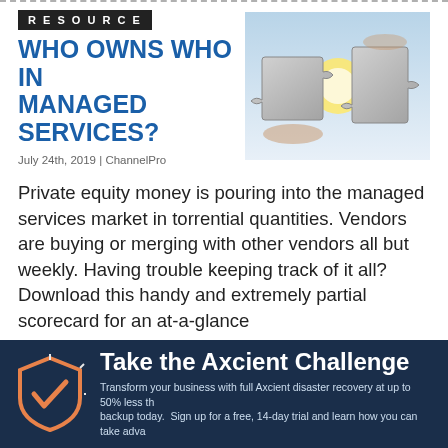RESOURCE
WHO OWNS WHO IN MANAGED SERVICES?
July 24th, 2019 | ChannelPro
[Figure (photo): Two puzzle pieces being joined together with a glowing light between them, held by a hand, against a bright sky background.]
Private equity money is pouring into the managed services market in torrential quantities. Vendors are buying or merging with other vendors all but weekly. Having trouble keeping track of it all? Download this handy and extremely partial scorecard for an at-a-glance
[Figure (infographic): Axcient advertisement banner with shield/checkmark logo. Take the Axcient Challenge. Transform your business with full Axcient disaster recovery at up to 50% less than... backup today. Sign up for a free, 14-day trial and learn how you can take adva...]